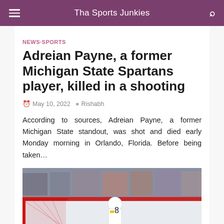Tha Sports Junkies
NEWS·SPORTS
Adreian Payne, a former Michigan State Spartans player, killed in a shooting
May 10, 2022   Rishabh
According to sources, Adreian Payne, a former Michigan State standout, was shot and died early Monday morning in Orlando, Florida. Before being taken…
[Figure (photo): Hockey game photo showing a player in white Bruins jersey near a red goal net with crowd in background and AM VODKA advertisement visible]